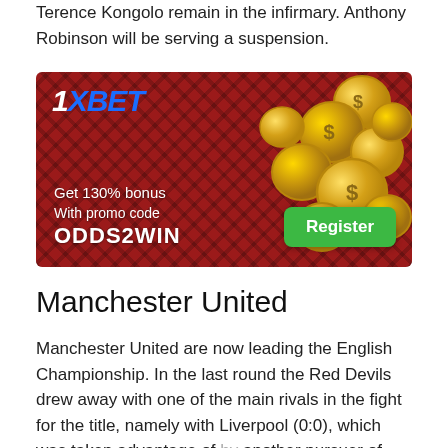Terence Kongolo remain in the infirmary. Anthony Robinson will be serving a suspension.
[Figure (infographic): 1XBET advertisement banner with red diamond-pattern background, gold coins, '1XBET' logo, 'Get 130% bonus', 'With promo code ODDS2WIN', and a green 'Register' button.]
Manchester United
Manchester United are now leading the English Championship. In the last round the Red Devils drew away with one of the main rivals in the fight for the title, namely with Liverpool (0:0), which was taken advantage of by another pursuer of Manchester City. "Citizens" smashed on the home arena "Crystal Palace" (4:0) and closely sat on the tail of the champions of the Season. Sat in...